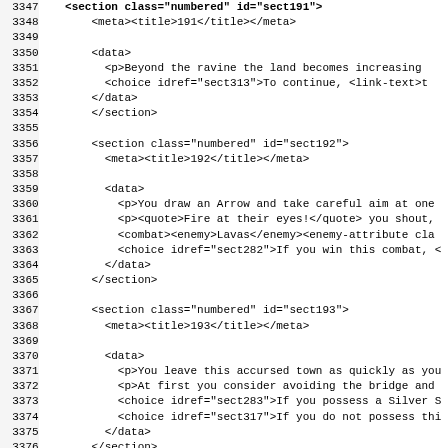Code listing showing XML/markup content with line numbers 3347-3379
| line | code |
| --- | --- |
| 3347 |     <section class="numbered" id="sect191"> |
| 3348 |         <meta><title>191</title></meta> |
| 3349 |  |
| 3350 |         <data> |
| 3351 |           <p>Beyond the ravine the land becomes increasing |
| 3352 |           <choice idref="sect313">To continue, <link-text>t |
| 3353 |         </data> |
| 3354 |         </section> |
| 3355 |  |
| 3356 |         <section class="numbered" id="sect192"> |
| 3357 |           <meta><title>192</title></meta> |
| 3358 |  |
| 3359 |           <data> |
| 3360 |             <p>You draw an Arrow and take careful aim at one |
| 3361 |             <p><quote>Fire at their eyes!</quote> you shout, |
| 3362 |             <combat><enemy>Lavas</enemy><enemy-attribute cla |
| 3363 |             <choice idref="sect282">If you win this combat, < |
| 3364 |           </data> |
| 3365 |         </section> |
| 3366 |  |
| 3367 |         <section class="numbered" id="sect193"> |
| 3368 |           <meta><title>193</title></meta> |
| 3369 |  |
| 3370 |           <data> |
| 3371 |             <p>You leave this accursed town as quickly as you |
| 3372 |             <p>At first you consider avoiding the bridge and |
| 3373 |             <choice idref="sect283">If you possess a Silver S |
| 3374 |             <choice idref="sect317">If you do not possess thi |
| 3375 |           </data> |
| 3376 |         </section> |
| 3377 |  |
| 3378 |         <section class="numbered" id="sect194"> |
| 3379 |           <meta><title>194</title></meta> |